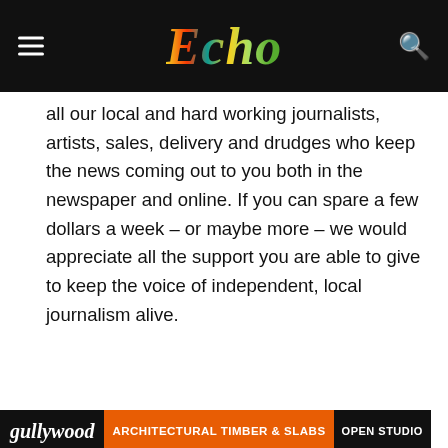Echo
all our local and hard working journalists, artists, sales, delivery and drudges who keep the news coming out to you both in the newspaper and online. If you can spare a few dollars a week – or maybe more – we would appreciate all the support you are able to give to keep the voice of independent, local journalism alive.
Become a supporter
[Figure (infographic): Advertisement banner: 'We need your help. Even a small one-off or regular donation from you will help keep The Echo's independent voice alive and strong.' with colorful Echo logo on right and rainbow paint splash background.]
[Figure (infographic): Bottom advertisement bar with dark background text 'gullywood' and orange text 'ARCHITECTURAL TIMBER & SLABS' and dark 'OPEN STUDIO']